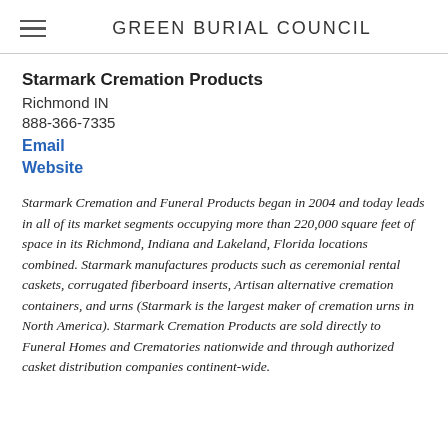GREEN BURIAL COUNCIL
Starmark Cremation Products
Richmond IN
888-366-7335
Email
Website
Starmark Cremation and Funeral Products began in 2004 and today leads in all of its market segments occupying more than 220,000 square feet of space in its Richmond, Indiana and Lakeland, Florida locations combined. Starmark manufactures products such as ceremonial rental caskets, corrugated fiberboard inserts, Artisan alternative cremation containers, and urns (Starmark is the largest maker of cremation urns in North America). Starmark Cremation Products are sold directly to Funeral Homes and Crematories nationwide and through authorized casket distribution companies continent-wide.